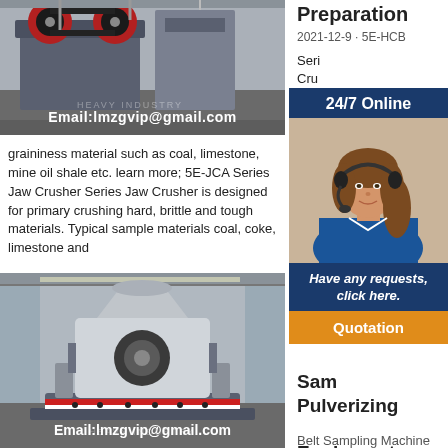[Figure (photo): Industrial jaw crusher machine in a factory setting]
Email:lmzgvip@gmail.com
Preparation
2021-12-9 · 5E-HCB
Series Jaw Crusher sample
[Figure (infographic): 24/7 Online chat widget with woman wearing headset. Have any requests, click here. Quotation button.]
graininess material such as coal, limestone, mine oil shale etc. learn more; 5E-JCA Series Jaw Crusher Series Jaw Crusher is designed for primary crushing hard, brittle and tough materials. Typical sample materials coal, coke, limestone and
[Figure (photo): Industrial cone crusher / pulverizing equipment in factory]
Email:lmzgvip@gmail.com
Sample Pulverizing Equipment Crusher Mills, Cone
Belt Sampling Machine [2] Tools for